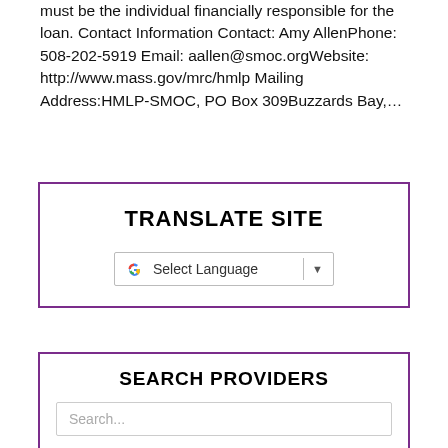must be the individual financially responsible for the loan. Contact Information Contact: Amy AllenPhone: 508-202-5919 Email: aallen@smoc.orgWebsite: http://www.mass.gov/mrc/hmlp Mailing Address:HMLP-SMOC, PO Box 309Buzzards Bay,...
[Figure (screenshot): Translate Site widget with Google Translate selector showing 'Select Language' dropdown with Google G logo]
[Figure (screenshot): Search Providers box with a search input field showing placeholder text 'Search...']